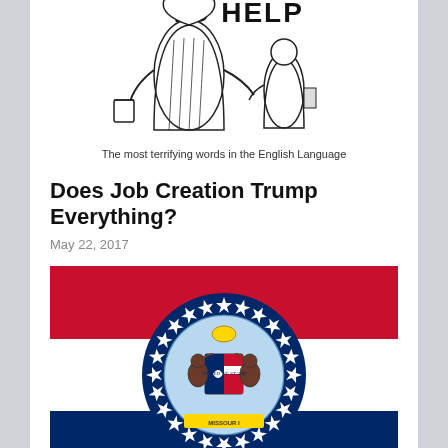[Figure (illustration): Black and white cartoon illustration showing two figures, partially visible at top, with text 'TO HELP' visible. Caption reads: The most terrifying words in the English Language]
The most terrifying words in the English Language
Does Job Creation Trump Everything?
May 22, 2017
[Figure (photo): Missouri state flag: horizontal red stripe on top, white stripe in middle with circular state seal (bears, crescent moon, and stars on blue background surrounded by ring of stars), and dark blue stripe on bottom]
Ballot Issues – Proposition B